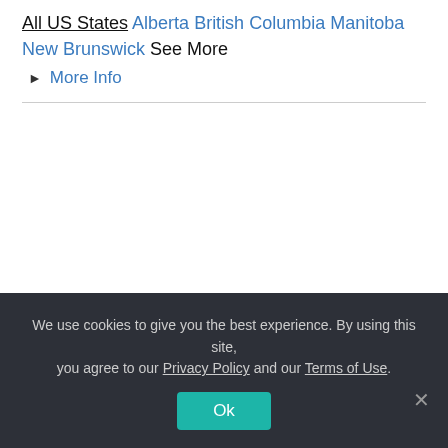All US States Alberta British Columbia Manitoba New Brunswick See More
▶ More Info
We use cookies to give you the best experience. By using this site, you agree to our Privacy Policy and our Terms of Use.